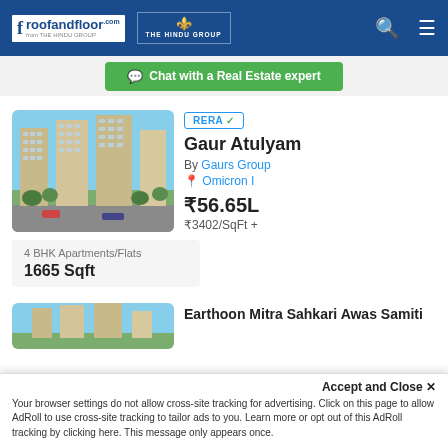roofandfloor.com — THE HINDU GROUP
Chat with a Real Estate expert
[Figure (photo): Exterior rendering of Gaur Atulyam high-rise apartment complex]
RERA ✓
Gaur Atulyam
By Gaurs Group
Omicron I
₹56.65L
₹3402/SqFt +
4 BHK Apartments/Flats
1665 Sqft
[Figure (photo): Partial view of second property listing]
Earthoon Mitra Sahkari Awas Samiti
Accept and Close ✕ Your browser settings do not allow cross-site tracking for advertising. Click on this page to allow AdRoll to use cross-site tracking to tailor ads to you. Learn more or opt out of this AdRoll tracking by clicking here. This message only appears once.